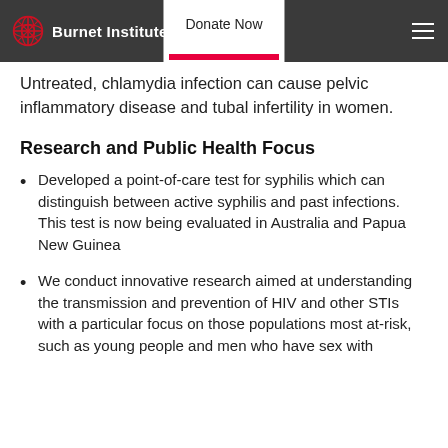Burnet Institute | Donate Now
Untreated, chlamydia infection can cause pelvic inflammatory disease and tubal infertility in women.
Research and Public Health Focus
Developed a point-of-care test for syphilis which can distinguish between active syphilis and past infections. This test is now being evaluated in Australia and Papua New Guinea
We conduct innovative research aimed at understanding the transmission and prevention of HIV and other STIs with a particular focus on those populations most at-risk, such as young people and men who have sex with